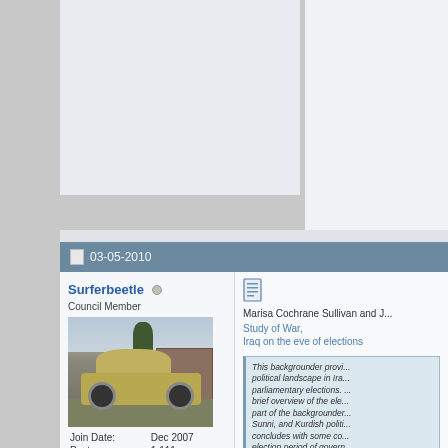and development they d... when the campaign bega...
Sapere Aude
03-05-2010
Surferbeetle (online indicator) Council Member
[Figure (photo): Profile avatar photo of a golden/tan Volkswagen Beetle car parked in front of a building with trees]
|  |  |
| --- | --- |
| Join Date: | Dec 2007 |
| Posts: | 1,111 |
[Figure (illustration): Document/page icon in blue and grey]
Marisa Cochrane Sullivan and J...
Study of War, Iraq on the eve of elections
This backgrounder provi... political landscape in Ira... parliamentary elections. ... brief overview of the ele... part of the backgrounder... Sunni, and Kurdish politi... concludes with some co... election period of govern...